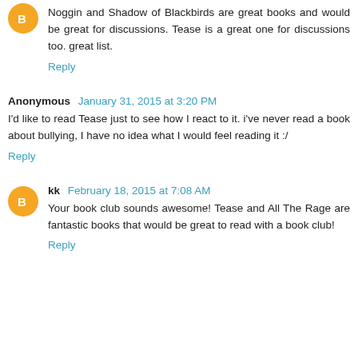Noggin and Shadow of Blackbirds are great books and would be great for discussions. Tease is a great one for discussions too. great list.
Reply
Anonymous  January 31, 2015 at 3:20 PM
I'd like to read Tease just to see how I react to it. i've never read a book about bullying, I have no idea what I would feel reading it :/
Reply
kk  February 18, 2015 at 7:08 AM
Your book club sounds awesome! Tease and All The Rage are fantastic books that would be great to read with a book club!
Reply